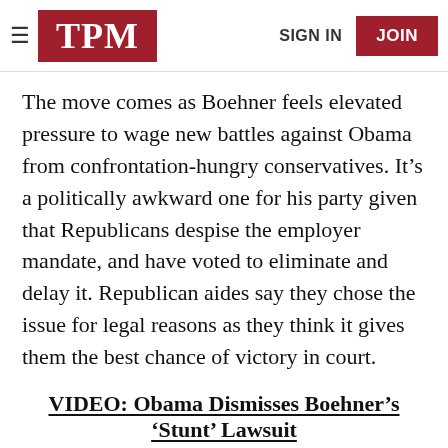TPM | SIGN IN | JOIN
The move comes as Boehner feels elevated pressure to wage new battles against Obama from confrontation-hungry conservatives. It’s a politically awkward one for his party given that Republicans despise the employer mandate, and have voted to eliminate and delay it. Republican aides say they chose the issue for legal reasons as they think it gives them the best chance of victory in court.
VIDEO: Obama Dismisses Boehner’s ‘Stunt’ Lawsuit
“Republicans want to sue the president for not